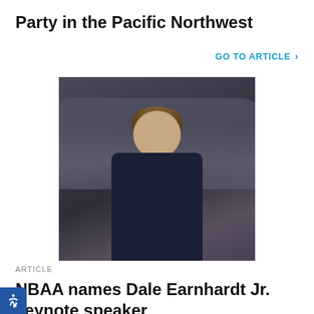Party in the Pacific Northwest
GO TO ARTICLE >
[Figure (photo): Man in dark suit smiling, standing in front of a covered/clay car in a workshop or garage setting]
ARTICLE
NBAA names Dale Earnhardt Jr. keynote speaker